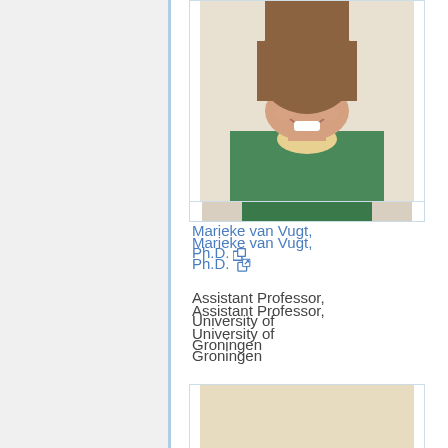[Figure (photo): Portrait photo of Marieke van Vugt, a woman smiling, wearing a green top, partially cropped at top]
Marieke van Vugt, Ph.D.
Assistant Professor, University of Groningen
[Figure (photo): Portrait photo of Jasmine Wang, a young woman with long dark hair and glasses, smiling, wearing a light blue top]
Jasmine Wang
VCU Chemical and Life Science